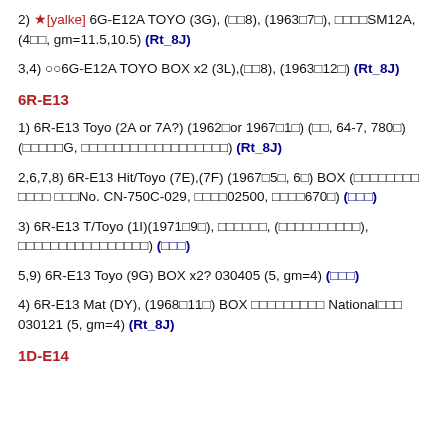2) ★[yalke] 6G-E12A TOYO (3G), (□□8), (1963□7□), □□□□SM12A, (4□□, gm=11.5,10.5) (Rt_8J)
3,4) ○○6G-E12A TOYO BOX x2 (3L),(□□8), (1963□12□) (Rt_8J)
6R-E13
1) 6R-E13 Toyo (2A or 7A?) (1962□or 1967□1□) (□□, 64-7, 780□)(□□□□□G, □□□□□□□□□□□□□□□□□□) (Rt_8J)
2,6,7,8) 6R-E13 Hit/Toyo (7E),(7F) (1967□5□, 6□) BOX (□□□□□□□□ □□□□ □□□No. CN-750C-029, □□□□02500, □□□□670□) (□□□)
3) 6R-E13 T/Toyo (1I)(1971□9□), □□□□□□, (□□□□□□□□□□), □□□□□□□□□□□□□□□□) (□□□)
5,9) 6R-E13 Toyo (9G) BOX x2? 030405 (5, gm=4) (□□□)
4) 6R-E13 Mat (DY), (1968□11□) BOX □□□□□□□□□ National□□□ 030121 (5, gm=4) (Rt_8J)
1D-E14